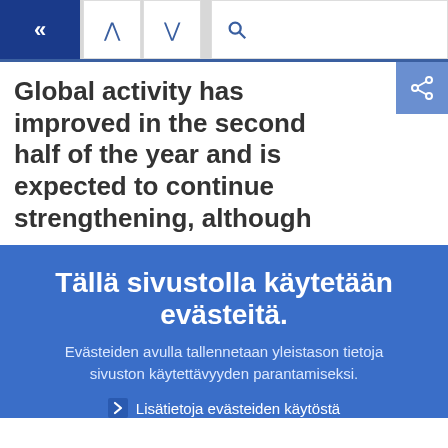[Figure (screenshot): Navigation bar with back button (dark blue), up/down arrows, search icon, and hamburger menu on blue square]
Global activity has improved in the second half of the year and is expected to continue strengthening, although
Tällä sivustolla käytetään evästeitä.
Evästeiden avulla tallennetaan yleistason tietoja sivuston käytettävyyden parantamiseksi.
Lisätietoja evästeiden käytöstä
Ymmärrän ja sallin evästeiden käytön
En salli evästeiden käyttöä